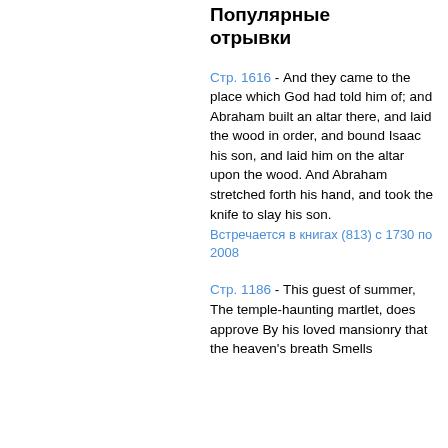Популярные отрывки
Стр. 1616 - And they came to the place which God had told him of; and Abraham built an altar there, and laid the wood in order, and bound Isaac his son, and laid him on the altar upon the wood. And Abraham stretched forth his hand, and took the knife to slay his son.
Встречается в книгах (813) с 1730 по 2008
Стр. 1186 - This guest of summer, The temple-haunting martlet, does approve By his loved mansionry that the heaven's breath Smells